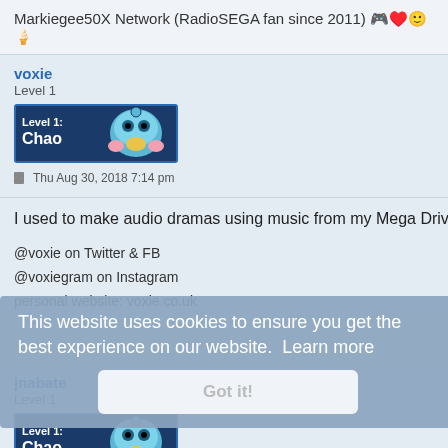Markiegee50X Network (RadioSEGA fan since 2011) 🎮♥️🙂🍦
voxie
Level 1
[Figure (illustration): Level 1: Chao badge with blue chao character]
Thu Aug 30, 2018 7:14 pm
I used to make audio dramas using music from my Mega Drive g
@voxie on Twitter & FB
@voxiegram on Instagram
personal website: voxie.co.uk
This website uses cookies to ensure you get the best experience on our website.  Learn more
Got it!
jnabate
Level 1
[Figure (illustration): Level 1: Chao badge with blue chao character]
Fri Oct 11, 2019 6:56 am